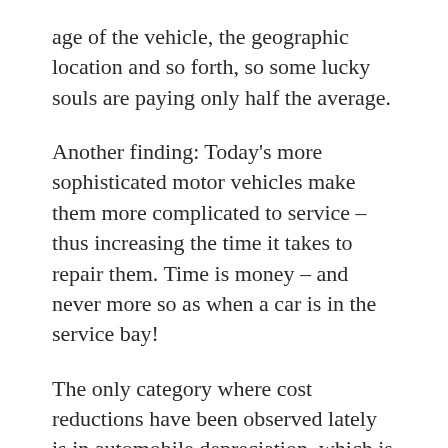age of the vehicle, the geographic location and so forth, so some lucky souls are paying only half the average.
Another finding: Today's more sophisticated motor vehicles make them more complicated to service – thus increasing the time it takes to repair them. Time is money – and never more so as when a car is in the service bay!
The only category where cost reductions have been observed lately is in automobile depreciation, which is lower by about 5% compared to last year.
The reason? Reduced new car sales have resulted in a relative shortage of quality used